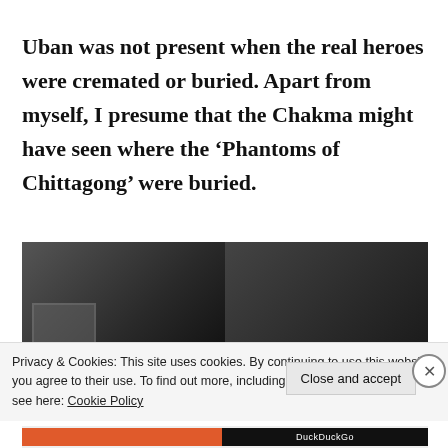Uban was not present when the real heroes were cremated or buried. Apart from myself, I presume that the Chakma might have seen where the ‘Phantoms of Chittagong’ were buried.
[Figure (photo): Black and white photograph showing people wearing graduation caps, partially visible, with a building structure in the background.]
Privacy & Cookies: This site uses cookies. By continuing to use this website, you agree to their use. To find out more, including how to control cookies, see here: Cookie Policy